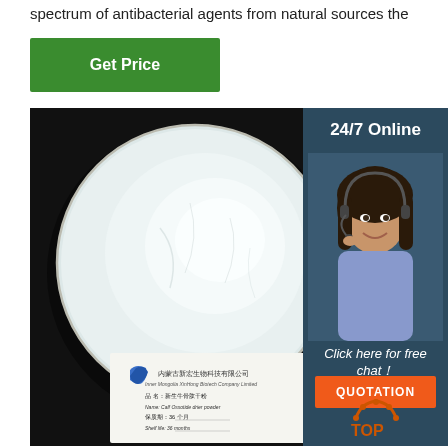spectrum of antibacterial agents from natural sources the
Get Price
[Figure (photo): White powder in a petri dish on a black background, with a product label from Inner Mongolia XinHong Biotech Company Limited showing product details: 品名: 新生牛骨肽干粉, Name: Calf Ossotide drier powder, 保质期: 36个月, Shelf life: 36 months]
[Figure (infographic): Side panel with dark blue background showing '24/7 Online' text, a customer service agent photo, 'Click here for free chat!' text in italic, and an orange QUOTATION button. A TOP logo appears at bottom right of the page.]